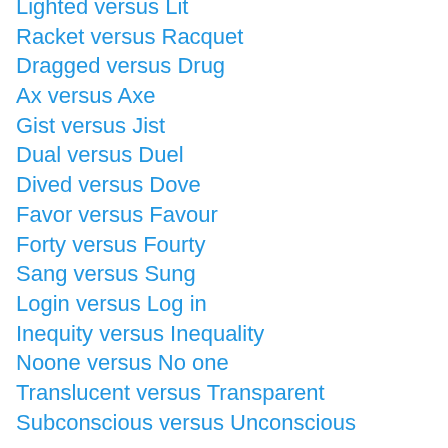Lighted versus Lit
Racket versus Racquet
Dragged versus Drug
Ax versus Axe
Gist versus Jist
Dual versus Duel
Dived versus Dove
Favor versus Favour
Forty versus Fourty
Sang versus Sung
Login versus Log in
Inequity versus Inequality
Noone versus No one
Translucent versus Transparent
Subconscious versus Unconscious